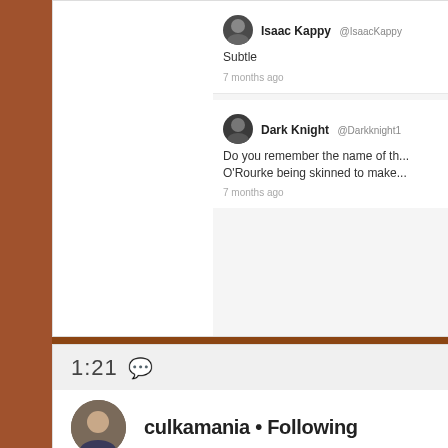[Figure (screenshot): Screenshot of social media comments. Isaac Kappy @IsaacKappy says 'Subtle', 7 months ago. Dark Knight @Darkknight1 says 'Do you remember the name of th... O'Rourke being skinned to make...', 7 months ago.]
Isaac Kappy @IsaacKappy
Subtle
7 months ago
Dark Knight @Darkknight1
Do you remember the name of th... O'Rourke being skinned to make...
7 months ago
[Figure (screenshot): Instagram-style post. Header shows 1:21 with chat icon. Profile: culkamania • Following. Below is an outdoor/pavement scene photo.]
1:21 💬
culkamania • Following